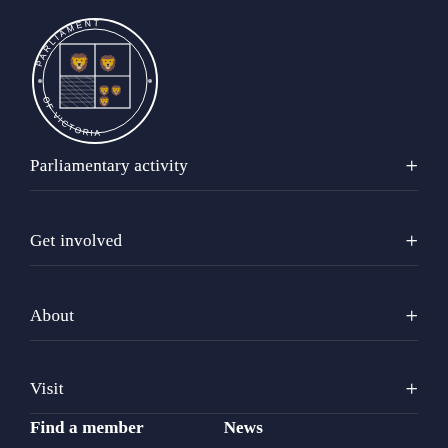[Figure (logo): Parliament of Victoria circular seal/crest with coat of arms and text 'PARLIAMENT OF VICTORIA']
Parliamentary activity +
Get involved +
About +
Visit +
Find a member    News